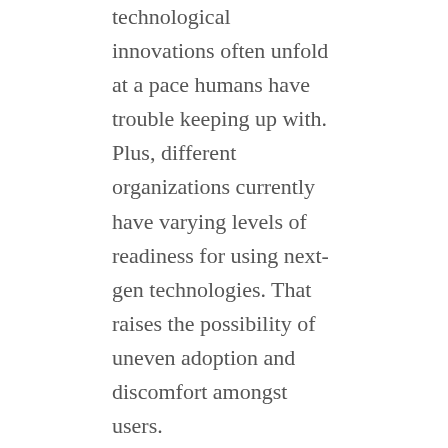technological innovations often unfold at a pace humans have trouble keeping up with. Plus, different organizations currently have varying levels of readiness for using next-gen technologies. That raises the possibility of uneven adoption and discomfort amongst users.
Today, the digital readiness discussion in organizations has pivoted to look at people's preparedness, their digital skills, and whether they have the tools they need to carry out their tasks. While digital readiness begins at the personal level, it must integrate with an organization's work culture.
Why A Digital Culture is Essential for Future Business Success